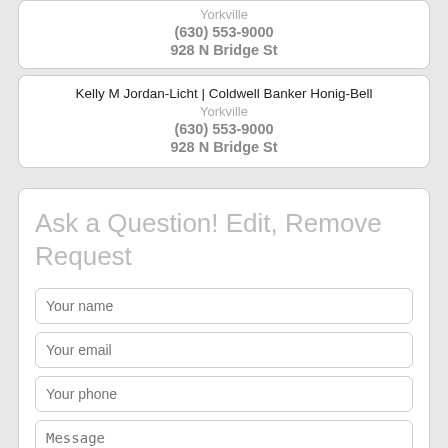Yorkville
(630) 553-9000
928 N Bridge St
Kelly M Jordan-Licht | Coldwell Banker Honig-Bell
Yorkville
(630) 553-9000
928 N Bridge St
Ask a Question! Edit, Remove Request
Your name
Your email
Your phone
Message